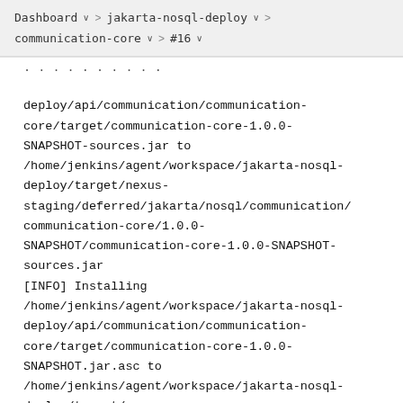Dashboard > jakarta-nosql-deploy > communication-core > #16
deploy/api/communication/communication-core/target/communication-core-1.0.0-SNAPSHOT-sources.jar to /home/jenkins/agent/workspace/jakarta-nosql-deploy/target/nexus-staging/deferred/jakarta/nosql/communication/communication-core/1.0.0-SNAPSHOT/communication-core-1.0.0-SNAPSHOT-sources.jar
[INFO] Installing /home/jenkins/agent/workspace/jakarta-nosql-deploy/api/communication/communication-core/target/communication-core-1.0.0-SNAPSHOT.jar.asc to /home/jenkins/agent/workspace/jakarta-nosql-deploy/target/nexus-staging/deferred/jakarta/nosql/communication/